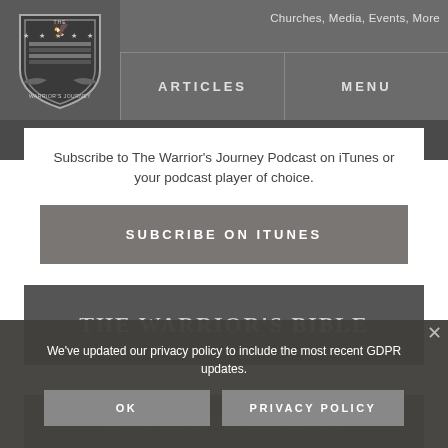[Figure (logo): The Warrior's Journey shield logo with eagle emblem]
Churches, Media, Events, More   ARTICLES   MENU
Subscribe to The Warrior's Journey Podcast on iTunes or your podcast player of choice.
SUBCRIBE ON ITUNES
[Figure (photo): The Warrior's Bible book cover image]
We've updated our privacy policy to include the most recent GDPR updates.
OK   PRIVACY POLICY